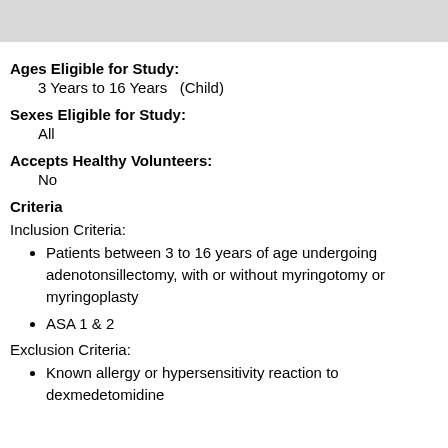[Figure (other): Gray header bar at top of page]
Ages Eligible for Study:
3 Years to 16 Years   (Child)
Sexes Eligible for Study:
All
Accepts Healthy Volunteers:
No
Criteria
Inclusion Criteria:
Patients between 3 to 16 years of age undergoing adenotonsillectomy, with or without myringotomy or myringoplasty
ASA 1 & 2
Exclusion Criteria:
Known allergy or hypersensitivity reaction to dexmedetomidine